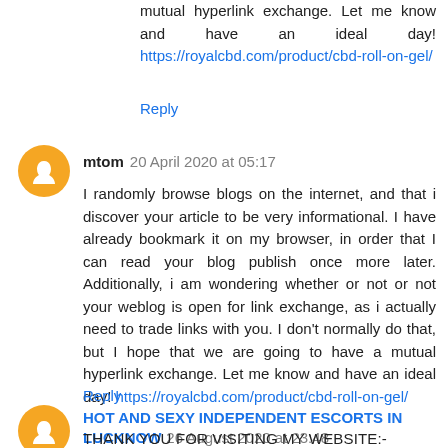mutual hyperlink exchange. Let me know and have an ideal day! https://royalcbd.com/product/cbd-roll-on-gel/
Reply
mtom 20 April 2020 at 05:17
I randomly browse blogs on the internet, and that i discover your article to be very informational. I have already bookmark it on my browser, in order that I can read your blog publish once more later. Additionally, i am wondering whether or not or not your weblog is open for link exchange, as i actually need to trade links with you. I don't normally do that, but I hope that we are going to have a mutual hyperlink exchange. Let me know and have an ideal day! https://royalcbd.com/product/cbd-roll-on-gel/
Reply
HOT AND SEXY INDEPENDENT ESCORTS IN LUCKNOW 26 August 2020 at 23:48
THANK YOU FOR VISITING MY WEBSITE:-